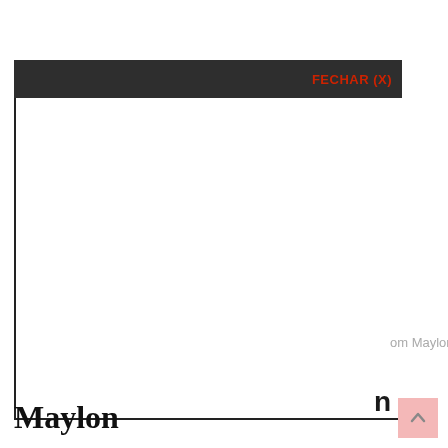[Figure (screenshot): A UI modal/dialog window screenshot showing a dark header bar with red 'FECHAR (X)' button at top right, a large white content area with a black border on the left and bottom, partial text 'om Maylon' visible at lower right outside the modal, and a partial letter at bottom left. Below the modal is bold text 'Maylon'. A pink scroll-to-top button appears at bottom right.]
Maylon